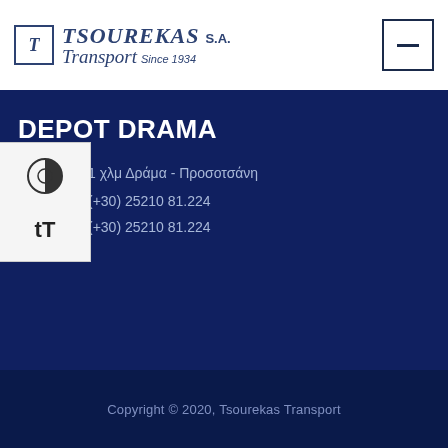TSOUREKAS S.A. Transport Since 1934
DEPOT DRAMA
1 χλμ Δράμα - Προσοτσάνη
(+30) 25210 81.224
(+30) 25210 81.224
Copyright © 2020, Tsourekas Transport